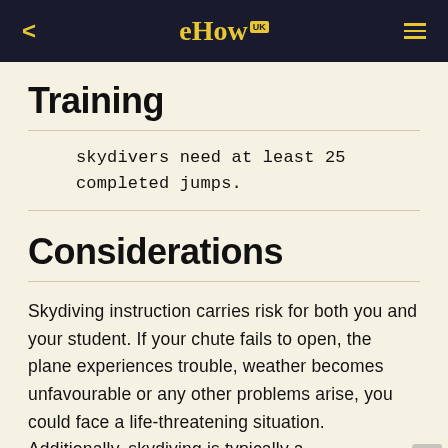eHow UK
Training
skydivers need at least 25 completed jumps.
Considerations
Skydiving instruction carries risk for both you and your student. If your chute fails to open, the plane experiences trouble, weather becomes unfavourable or any other problems arise, you could face a life-threatening situation. Additionally, skydiving is typically a